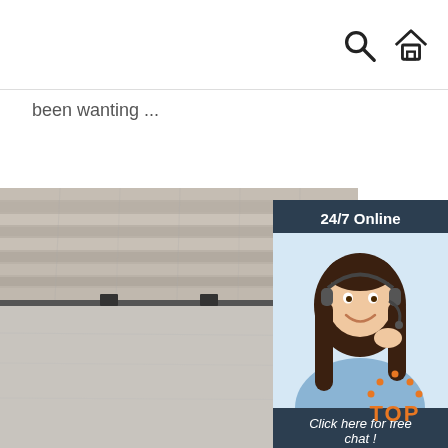been wanting ...
Get Price
[Figure (photo): Stacked plywood sheets viewed from the side, showing layered edges and smooth surface]
[Figure (infographic): 24/7 Online chat widget with a photo of a smiling woman with headset, text 'Click here for free chat!' and an orange QUOTATION button]
[Figure (logo): Orange TOP logo with dotted arch above the text]